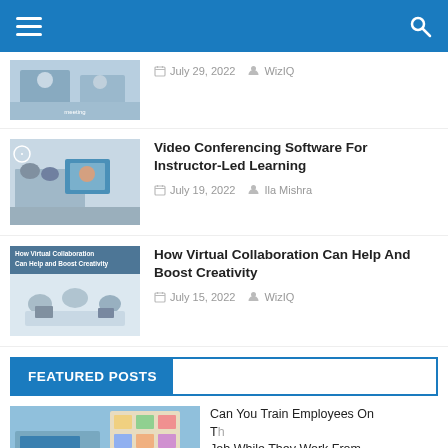WizIQ Blog navigation bar with menu and search icons
[Figure (screenshot): Partially visible article thumbnail - meeting/conference room scene]
July 29, 2022   WizIQ
[Figure (photo): Video conferencing in office - people around table with screen showing remote participant]
Video Conferencing Software For Instructor-Led Learning
July 19, 2022   Ila Mishra
[Figure (photo): How Virtual Collaboration Can Help and Boost Creativity - group of people with devices]
How Virtual Collaboration Can Help And Boost Creativity
July 15, 2022   WizIQ
FEATURED POSTS
[Figure (photo): Office/remote work scene with sticky notes board - partially visible]
Can You Train Employees On The Job While They Work From Ho...
August 10, 2022   WizIQ